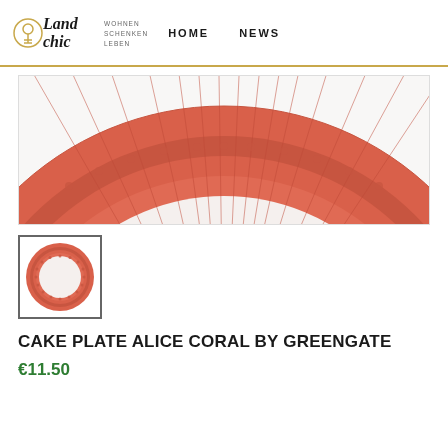[Figure (logo): Landchic logo with script text and tagline WOHNEN SCHENKEN LEBEN, with navigation links HOME and NEWS]
[Figure (photo): Close-up of a coral/red decorative ceramic plate rim showing ribbed and beaded detail pattern, cropped to show top arc of plate]
[Figure (photo): Thumbnail image of full Cake Plate Alice Coral by Greengate - circular plate with coral red decorative rim and white center]
CAKE PLATE ALICE CORAL BY GREENGATE
€11.50